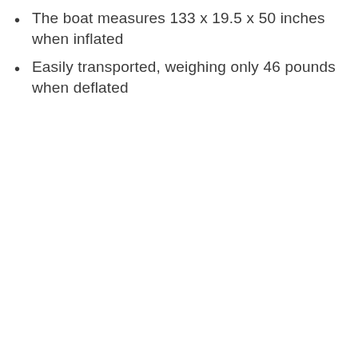The boat measures 133 x 19.5 x 50 inches when inflated
Easily transported, weighing only 46 pounds when deflated